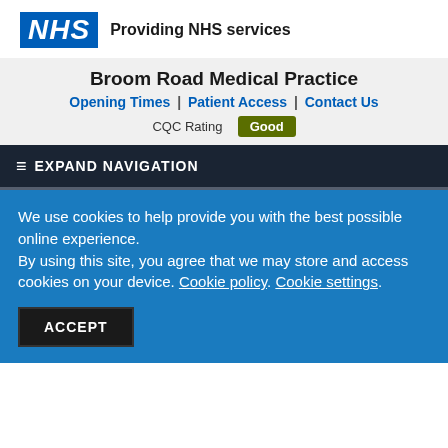[Figure (logo): NHS logo blue box with white italic NHS text]
Providing NHS services
Broom Road Medical Practice
Opening Times | Patient Access | Contact Us
CQC Rating  Good
≡ EXPAND NAVIGATION
We use cookies to help provide you with the best possible online experience.
By using this site, you agree that we may store and access cookies on your device. Cookie policy. Cookie settings.
ACCEPT